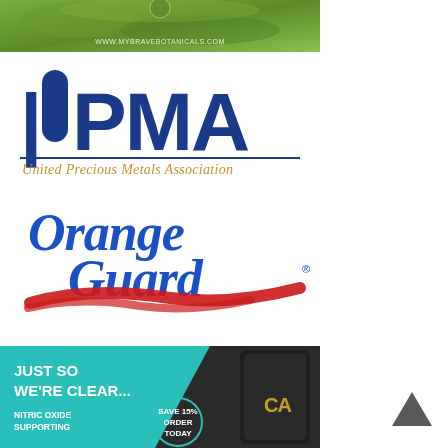[Figure (photo): Green botanical powder image with website URL www.mybravebotanicals.com at bottom]
[Figure (logo): UPMA - United Precious Metals Association logo with blue text and gold italic tagline]
[Figure (logo): Orange Guard logo with blue italic script text and red brushstroke underline]
[Figure (photo): Dark advertisement banner with teal background area, text JUST SO WE'RE CLEAR..., NITRIC OXIDE SUPPORTING, SAVE 15% ORDER TODAY, and product container on right]
[Figure (other): Upward pointing chevron/arrow navigation icon]